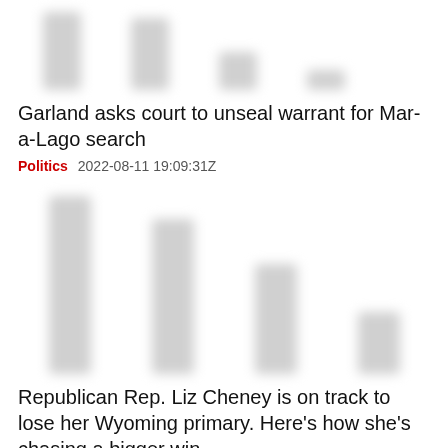[Figure (photo): Blurred/redacted image placeholder at top of first article]
Garland asks court to unseal warrant for Mar-a-Lago search
Politics   2022-08-11 19:09:31Z
[Figure (photo): Blurred/redacted image placeholder for second article, bar-chart-like blurred columns]
Republican Rep. Liz Cheney is on track to lose her Wyoming primary. Here's how she's chasing a bigger win
Politics   2022-08-14 11:15:11Z